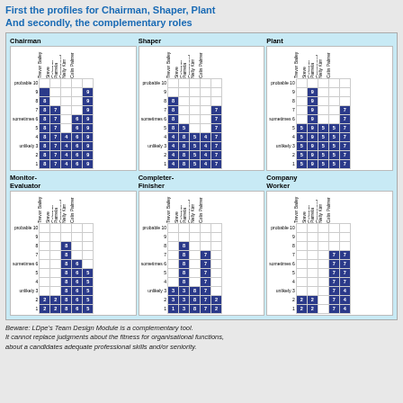First the profiles for Chairman, Shaper, Plant And secondly, the complementary roles
[Figure (infographic): Six role-fit matrix grids for team roles: Chairman, Shaper, Plant (top row) and Monitor-Evaluator, Completer-Finisher, Company Worker (bottom row). Each grid shows 5 candidates (Trevor Bailey, Steve Coleman, Pamela Greenwood, Nelly Kim, Colin Palmer) against probability levels 1-10 (probable=10, sometimes=6, unlikely=3). Blue filled cells show the score value for each candidate at each probability level.]
Beware: LDpe's Team Design Module is a complementary tool. It cannot replace judgments about the fitness for organisational functions, about a candidates adequate professional skills and/or seniority.